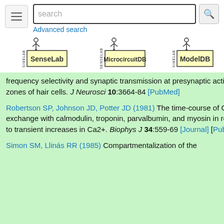[Figure (screenshot): Navigation bar with hamburger menu, search box, search button, and Advanced search link]
[Figure (logo): SenseLab logo]
[Figure (logo): MicrocircuitDB logo]
[Figure (logo): ModelDB logo]
frequency selectivity and synaptic transmission at presynaptic active zones of hair cells. J Neurosci 10:3664-84 [PubMed]
Robertson SP, Johnson JD, Potter JD (1981) The time-course of Ca2+ exchange with calmodulin, troponin, parvalbumin, and myosin in response to transient increases in Ca2+. Biophys J 34:559-69 [Journal] [PubMed]
Simon SM, Llinás RR (1985) Compartmentalization of the